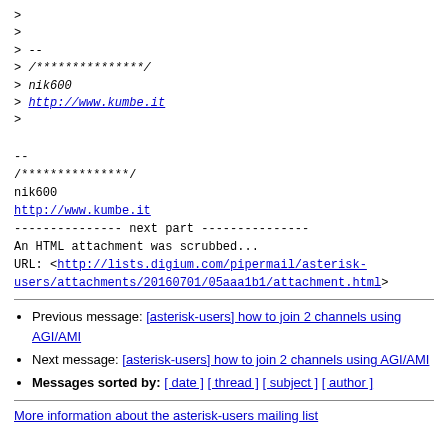> 
> 
> --
> /***************/
> nik600
> http://www.kumbe.it
>
--
/***************/
nik600
http://www.kumbe.it
--------------- next part ---------------
An HTML attachment was scrubbed...
URL: <http://lists.digium.com/pipermail/asterisk-users/attachments/20160701/05aaa1b1/attachment.html>
Previous message: [asterisk-users] how to join 2 channels using AGI/AMI
Next message: [asterisk-users] how to join 2 channels using AGI/AMI
Messages sorted by: [ date ] [ thread ] [ subject ] [ author ]
More information about the asterisk-users mailing list